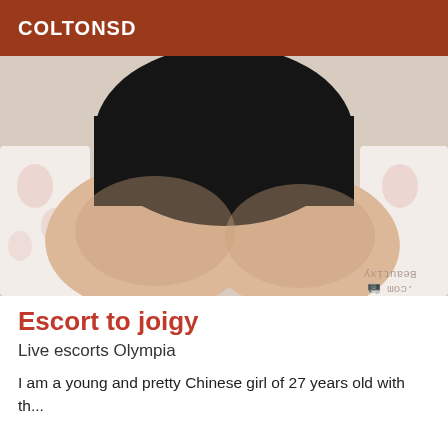COLTONSD
[Figure (photo): Photo showing lower body with black shorts, sitting on a floral bed]
Escort to joigy
Live escorts Olympia
I am a young and pretty Chinese girl of 27 years old with th...